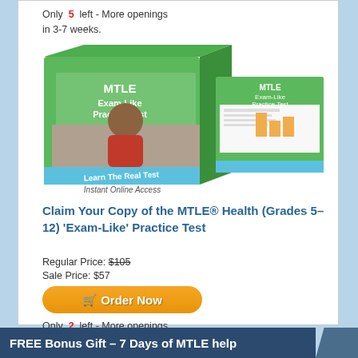Only 5 left - More openings in 3-7 weeks.
[Figure (illustration): MTLE Exam-Like Practice Test product box with image of a teacher and associated booklet showing exam questions and a bar chart. Text on box: MTLE, Exam-Like Practice Test, Learn The Real Test, Instant Online Access.]
Claim Your Copy of the MTLE® Health (Grades 5–12) 'Exam-Like' Practice Test
Regular Price: $105
Sale Price: $57
Order Now
Only 2 left - More openings in 3-7 weeks.
FREE Bonus Gift – 7 Days of MTLE help